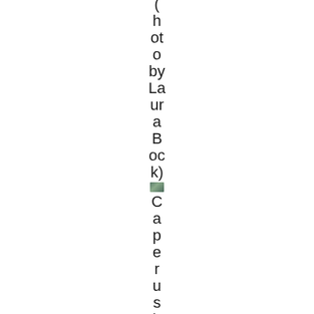(hot o by Laura Bock) [image] Caperus h (